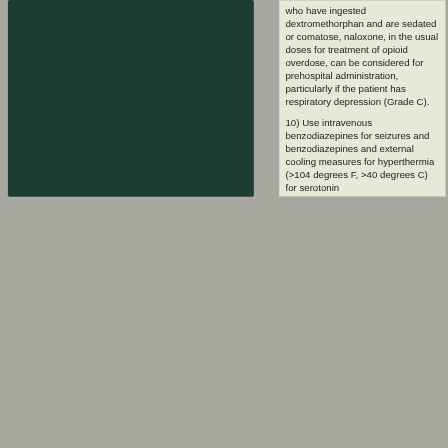[Figure (photo): Dark green rectangular panel occupying the left portion of the page]
who have ingested dextromethorphan and are sedated or comatose, naloxone, in the usual doses for treatment of opioid overdose, can be considered for prehospital administration, particularly if the patient has respiratory depression (Grade C).
10) Use intravenous benzodiazepines for seizures and benzodiazepines and external cooling measures for hyperthermia (>104 degrees F, >40 degrees C) for serotonin